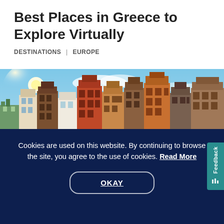Best Places in Greece to Explore Virtually
DESTINATIONS | EUROPE
[Figure (photo): Colorful Dutch-style canal houses with green trees and blue sky, used as article header image]
Cookies are used on this website. By continuing to browse the site, you agree to the use of cookies. Read More
OKAY